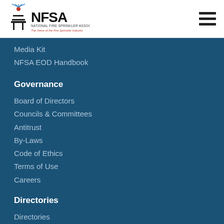[Figure (logo): NFSA National Fire Sprinkler Association logo with text 'The Voice of the Fire Sprinkler Industry']
Media Kit
NFSA EOD Handbook
Governance
Board of Directors
Councils & Committees
Antitrust
By-Laws
Code of Ethics
Terms of Use
Careers
Directories
Directories
Member Companies